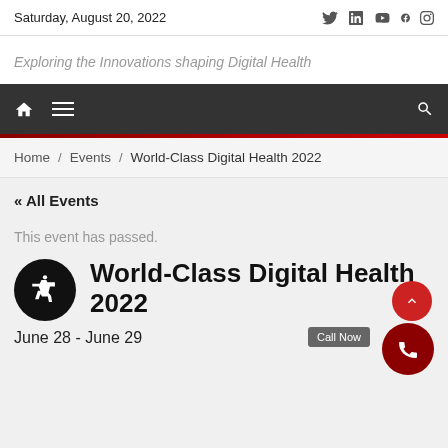Saturday, August 20, 2022
Exploring the Innovations shaping Digital Health
Home / Events / World-Class Digital Health 2022
« All Events
This event has passed.
World-Class Digital Health 2022
June 28 - June 29